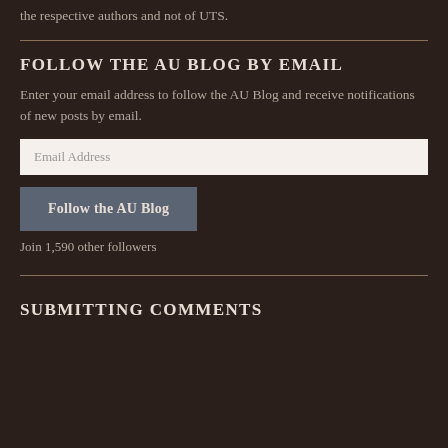the respective authors and not of UTS.
FOLLOW THE AU BLOG BY EMAIL
Enter your email address to follow the AU Blog and receive notifications of new posts by email.
Email Address
Follow the AU Blog
Join 1,590 other followers
SUBMITTING COMMENTS